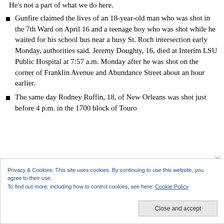He's not a part of what we do here.
Gunfire claimed the lives of an 18-year-old man who was shot in the 7th Ward on April 16 and a teenage boy who was shot while he waited for his school bus near a busy St. Roch intersection early Monday, authorities said. Jeremy Doughty, 16, died at Interim LSU Public Hospital at 7:57 a.m. Monday after he was shot on the corner of Franklin Avenue and Abundance Street about an hour earlier.
The same day Rodney Ruffin, 18, of New Orleans was shot just before 4 p.m. in the 1700 block of Touro
Privacy & Cookies: This site uses cookies. By continuing to use this website, you agree to their use.
To find out more, including how to control cookies, see here: Cookie Policy